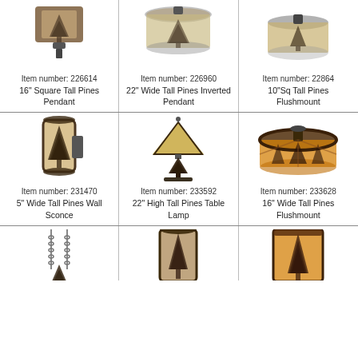[Figure (photo): 16 inch Square Tall Pines Pendant light fixture]
Item number: 226614
16" Square Tall Pines Pendant
[Figure (photo): 22 inch Wide Tall Pines Inverted Pendant light fixture]
Item number: 226960
22" Wide Tall Pines Inverted Pendant
[Figure (photo): 10 inch Square Tall Pines Flushmount light fixture]
Item number: 228642
10"Sq Tall Pines Flushmount
[Figure (photo): 5 inch Wide Tall Pines Wall Sconce]
Item number: 231470
5" Wide Tall Pines Wall Sconce
[Figure (photo): 22 inch High Tall Pines Table Lamp]
Item number: 233592
22" High Tall Pines Table Lamp
[Figure (photo): 16 inch Wide Tall Pines Flushmount]
Item number: 233628
16" Wide Tall Pines Flushmount
[Figure (photo): Tall Pines pendant with chain (partially visible)]
[Figure (photo): Tall Pines cylindrical light (partially visible)]
[Figure (photo): Tall Pines amber shade light (partially visible)]